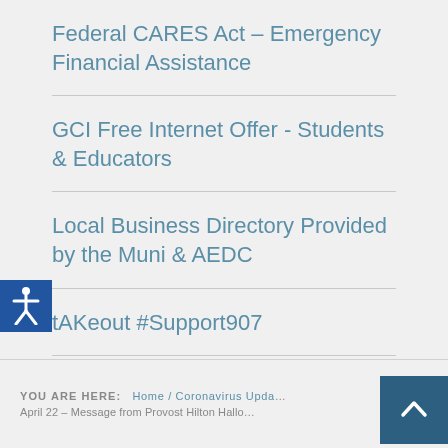Federal CARES Act – Emergency Financial Assistance
GCI Free Internet Offer - Students & Educators
Local Business Directory Provided by the Muni & AEDC
tAKeout #Support907
Alaska Communications Internet Offer
YOU ARE HERE: Home / Coronavirus Upda... April 22 – Message from Provost Hilton Hallo...